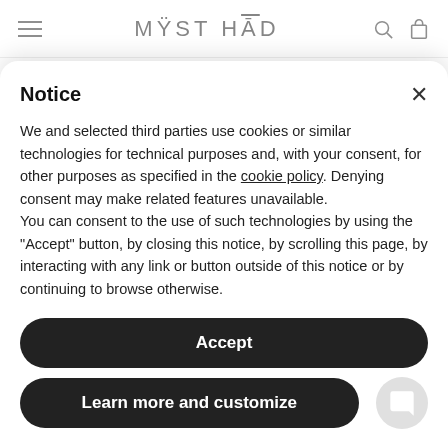MUST HĀD
products by these parties. The Seller does not carry out any checks on and/or monitoring of the websites that can be reached through these links
Notice
We and selected third parties use cookies or similar technologies for technical purposes and, with your consent, for other purposes as specified in the cookie policy. Denying consent may make related features unavailable.
You can consent to the use of such technologies by using the "Accept" button, by closing this notice, by scrolling this page, by interacting with any link or button outside of this notice or by continuing to browse otherwise.
Accept
Learn more and customize